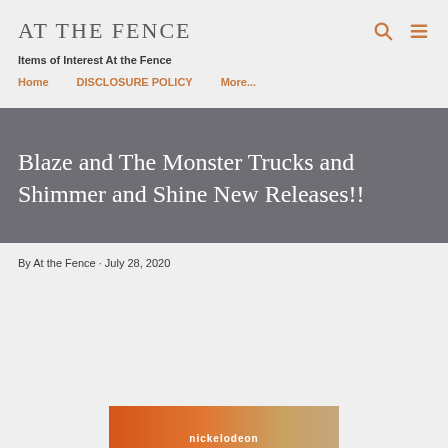AT THE FENCE
Items of Interest At the Fence
Home   DISCLOSURE POLICY   More...
Blaze and The Monster Trucks and Shimmer and Shine New Releases!!
By At the Fence · July 28, 2020
[Figure (photo): Nickelodeon branded image strip at bottom of page, orange and tan colors]